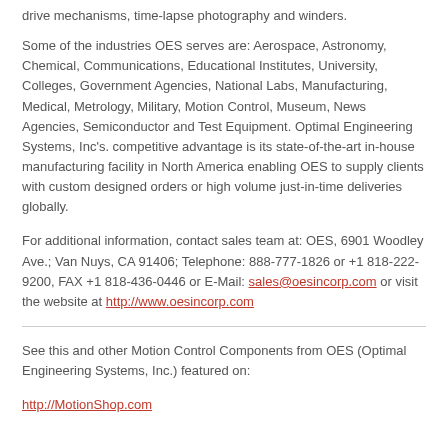drive mechanisms, time-lapse photography and winders.
Some of the industries OES serves are: Aerospace, Astronomy, Chemical, Communications, Educational Institutes, University, Colleges, Government Agencies, National Labs, Manufacturing, Medical, Metrology, Military, Motion Control, Museum, News Agencies, Semiconductor and Test Equipment. Optimal Engineering Systems, Inc's. competitive advantage is its state-of-the-art in-house manufacturing facility in North America enabling OES to supply clients with custom designed orders or high volume just-in-time deliveries globally.
For additional information, contact sales team at: OES, 6901 Woodley Ave.; Van Nuys, CA 91406; Telephone: 888-777-1826 or +1 818-222-9200, FAX +1 818-436-0446 or E-Mail: sales@oesincorp.com or visit the website at http://www.oesincorp.com
See this and other Motion Control Components from OES (Optimal Engineering Systems, Inc.) featured on:
http://MotionShop.com